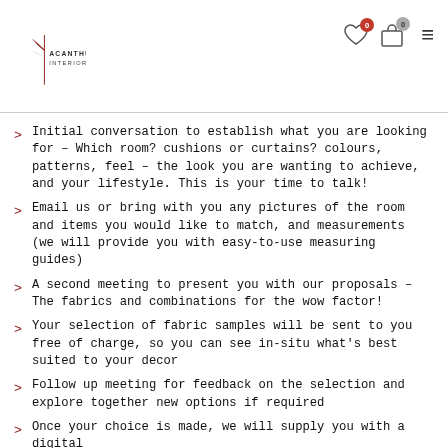Acanthus Interiors
Initial conversation to establish what you are looking for – Which room? cushions or curtains? colours, patterns, feel – the look you are wanting to achieve, and your lifestyle. This is your time to talk!
Email us or bring with you any pictures of the room and items you would like to match, and measurements (we will provide you with easy-to-use measuring guides)
A second meeting to present you with our proposals – The fabrics and combinations for the wow factor!
Your selection of fabric samples will be sent to you free of charge, so you can see in-situ what's best suited to your decor
Follow up meeting for feedback on the selection and explore together new options if required
Once your choice is made, we will supply you with a digital